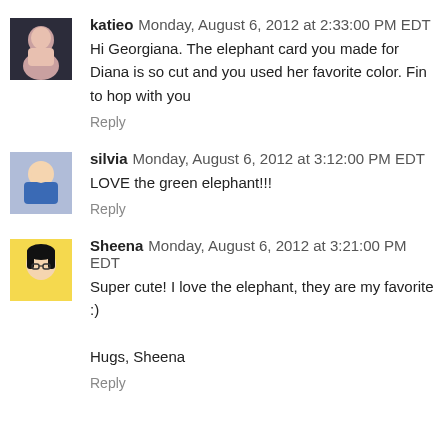katieo  Monday, August 6, 2012 at 2:33:00 PM EDT
Hi Georgiana. The elephant card you made for Diana is so cut and you used her favorite color. Fin to hop with you
Reply
silvia  Monday, August 6, 2012 at 3:12:00 PM EDT
LOVE the green elephant!!!
Reply
Sheena  Monday, August 6, 2012 at 3:21:00 PM EDT
Super cute! I love the elephant, they are my favorite :)

Hugs, Sheena
Reply